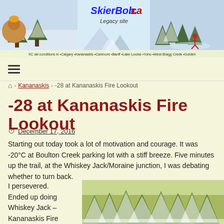[Figure (photo): SkierBob.ca website header banner with snowy winter scenes and skier logo. Text reads: SkierBob.ca Legacy site. XC ski conditions in Calgary, Kananaskis, Canmore, Banff, Lake Louise, Yoho, West Bragg Creek, Golden]
SkierBob.ca Legacy site — XC ski conditions in Calgary, Kananaskis, Canmore, Banff, Lake Louise, Yoho, West Bragg Creek, Golden
≡
🏠 › Kananaskis › -28 at Kananaskis Fire Lookout
-28 at Kananaskis Fire Lookout
December 17, 2016
Starting out today took a lot of motivation and courage. It was -20°C at Boulton Creek parking lot with a stiff breeze. Five minutes up the trail, at the Whiskey Jack/Moraine junction, I was debating whether to turn back.
I persevered. Ended up doing Whiskey Jack – Kananaskis Fire
[Figure (photo): Snow-covered evergreen trees in winter landscape]